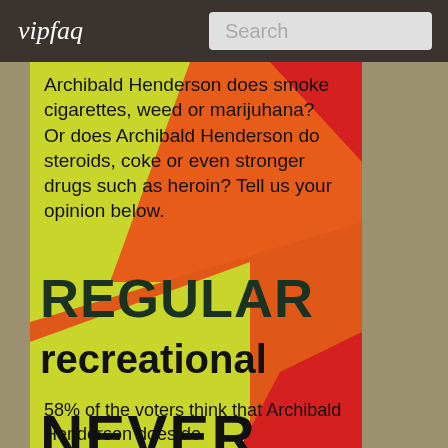vipfaq | Search
Archibald Henderson does smoke cigarettes, weed or marijuhana? Or does Archibald Henderson do steroids, coke or even stronger drugs such as heroin? Tell us your opinion below.
[Figure (infographic): Poll voting graphic with diagonal colored stripes (yellow-green, orange, red) showing three vote options: REGULAR, recreational, NEVER]
58% of the voters think that Archibald Henderson does do